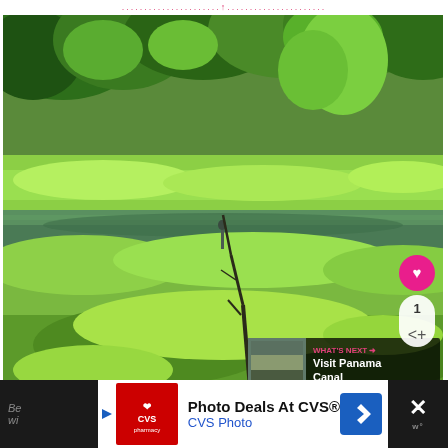[Figure (photo): Nature photo of a tropical wetland/swamp scene with lush green vegetation, tall grasses, a still reflective water body, and a bird (likely a heron) standing in the shallow water. Dense tropical forest in the background. UI overlays include a pink heart/like button, a share button showing count '1', a 'WHAT'S NEXT' panel showing 'Visit Panama Canal', and dotted navigation lines at the top.]
[Figure (infographic): Advertisement bar at the bottom: CVS Pharmacy 'Photo Deals At CVS® / CVS Photo' ad with red CVS logo, blue navigation arrow icon, and a close button on the right. Left and right sides of the bar show partial dark background with text fragments 'Be' and 'wi'.]